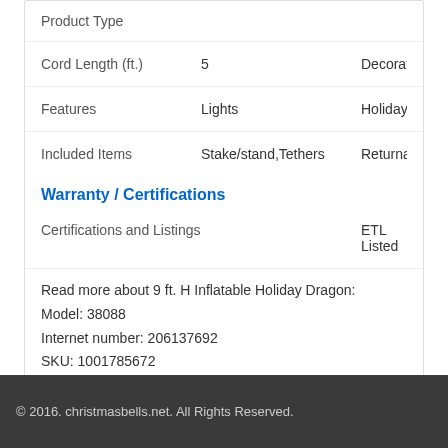Product Type
| Cord Length (ft.) | 5 | Decoration |
| Features | Lights | Holiday De… |
| Included Items | Stake/stand,Tethers | Returnable |
Warranty / Certifications
| Certifications and Listings |  | ETL Listed |
Read more about 9 ft. H Inflatable Holiday Dragon:
Model: 38088
Internet number: 206137692
SKU: 1001785672
UPC: 0086786380888
Brand: Home Accents Holiday
Availability: in stock
Buy online Home Accents Holiday 9 ft. H Inflatable Holiday Dragon 38088 ,lea
© 2016. christmasbells.net. All Rights Reserved.